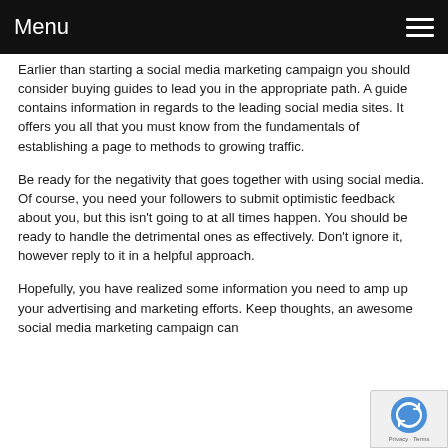Menu
Earlier than starting a social media marketing campaign you should consider buying guides to lead you in the appropriate path. A guide contains information in regards to the leading social media sites. It offers you all that you must know from the fundamentals of establishing a page to methods to growing traffic.
Be ready for the negativity that goes together with using social media. Of course, you need your followers to submit optimistic feedback about you, but this isn't going to at all times happen. You should be ready to handle the detrimental ones as effectively. Don't ignore it, however reply to it in a helpful approach.
Hopefully, you have realized some information you need to amp up your advertising and marketing efforts. Keep thoughts, an awesome social media marketing campaign can